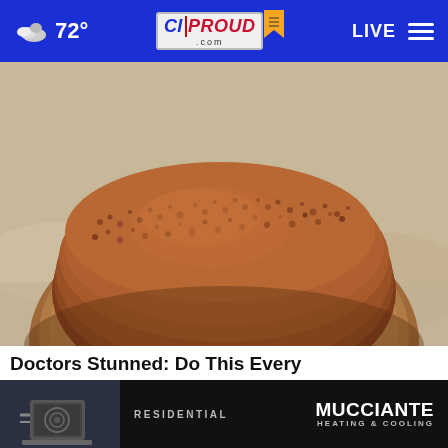72° CIProud.com LIVE
[Figure (photo): Close-up photo of ground brown spice (cinnamon or similar) on a wooden spoon against a light stone background]
Doctors Stunned: Do This Every Evening & Lose Your Weight
Weigh...
[Figure (photo): Advertisement banner for Mucciante Heating & Cooling - Residential services, with photo of HVAC unit]
RESIDENTIAL    MUCCIANTE HEATING & COOLING